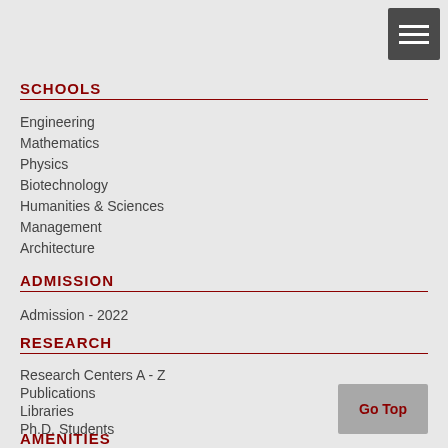SCHOOLS
Engineering
Mathematics
Physics
Biotechnology
Humanities & Sciences
Management
Architecture
ADMISSION
Admission - 2022
RESEARCH
Research Centers A - Z
Publications
Libraries
Ph.D. Students
AMENITIES